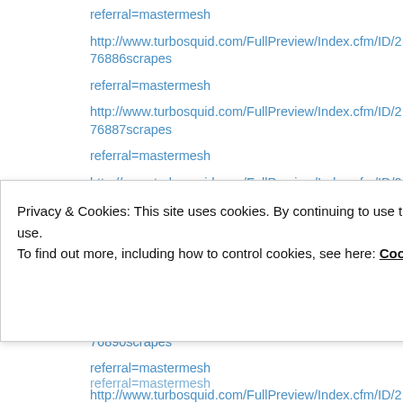referral=mastermesh
http://www.turbosquid.com/FullPreview/Index.cfm/ID/276886scrapes referral=mastermesh
http://www.turbosquid.com/FullPreview/Index.cfm/ID/276887scrapes referral=mastermesh
http://www.turbosquid.com/FullPreview/Index.cfm/ID/276888scrapes referral=mastermesh
http://www.turbosquid.com/FullPreview/Index.cfm/ID/276889scrapes referral=mastermesh
http://www.turbosquid.com/FullPreview/Index.cfm/ID/276890scrapes referral=mastermesh
http://www.turbosquid.com/FullPreview/Index.cfm/ID/276891scrapes referral=mastermesh
http://www.turbosquid.com/FullPreview/Index.cfm/ID/276892scrapes
Privacy & Cookies: This site uses cookies. By continuing to use this website, you agree to their use. To find out more, including how to control cookies, see here: Cookie Policy
referral=mastermesh